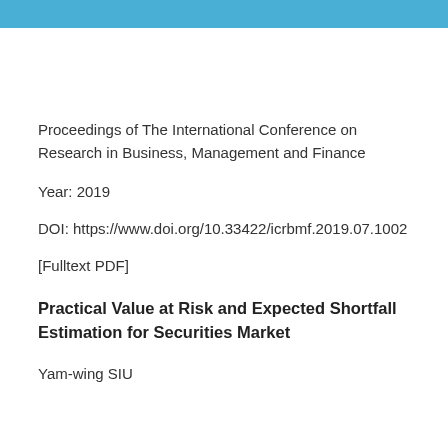Proceedings of The International Conference on Research in Business, Management and Finance
Year: 2019
DOI: https://www.doi.org/10.33422/icrbmf.2019.07.1002
[Fulltext PDF]
Practical Value at Risk and Expected Shortfall Estimation for Securities Market
Yam-wing SIU